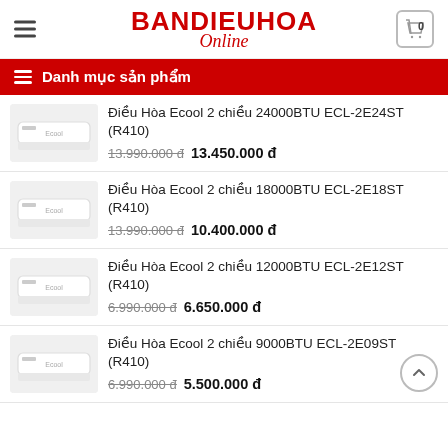BANDIEUHOA Online
Danh mục sản phẩm
Điều Hòa Ecool 2 chiều 24000BTU ECL-2E24ST (R410)
13.990.000 đ  13.450.000 đ
Điều Hòa Ecool 2 chiều 18000BTU ECL-2E18ST (R410)
13.990.000 đ  10.400.000 đ
Điều Hòa Ecool 2 chiều 12000BTU ECL-2E12ST (R410)
6.990.000 đ  6.650.000 đ
Điều Hòa Ecool 2 chiều 9000BTU ECL-2E09ST (R410)
6.990.000 đ  5.500.000 đ